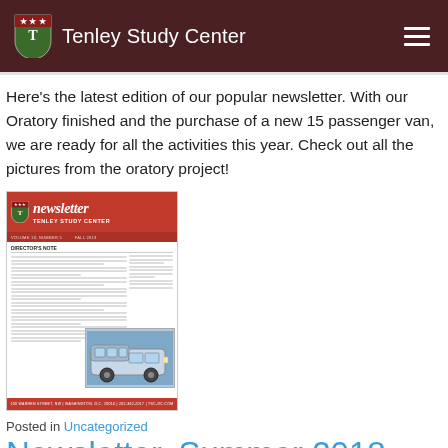Tenley Study Center
Here's the latest edition of our popular newsletter. With our Oratory finished and the purchase of a new 15 passenger van, we are ready for all the activities this year. Check out all the pictures from the oratory project!
[Figure (illustration): Thumbnail image of the Tenley Study Center newsletter showing Director's Note text and a photo of a van, with red header and footer bars.]
Posted in Uncategorized
Newsletter, Summer 2018